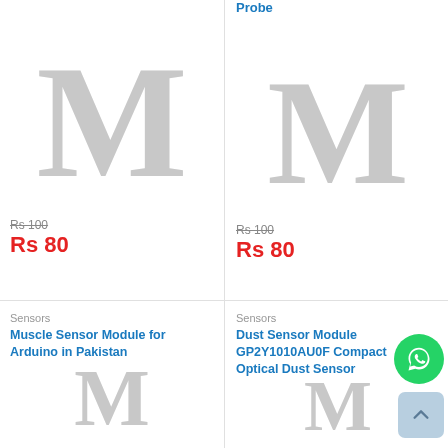Probe
[Figure (photo): Placeholder product image with large M letter for left top product]
Rs 100 (strikethrough)
Rs 80
[Figure (photo): Placeholder product image with large M letter for right top product]
Rs 100 (strikethrough)
Rs 80
Sensors
Muscle Sensor Module for Arduino in Pakistan
[Figure (photo): Placeholder product image with large M letter for left bottom product]
Sensors
Dust Sensor Module GP2Y1010AU0F Compact Optical Dust Sensor
[Figure (photo): Placeholder product image with large M letter for right bottom product]